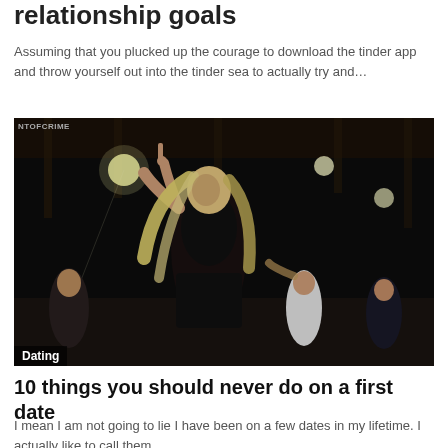relationship goals
Assuming that you plucked up the courage to download the tinder app and throw yourself out into the tinder sea to actually try and…
[Figure (photo): A woman with long blonde hair dancing in a dark venue, wearing black outfit, with other women in background. Watermark reads NTOFCRIME. Label 'Dating' overlaid at bottom left.]
10 things you should never do on a first date
I mean I am not going to lie I have been on a few dates in my lifetime. I actually like to call them…